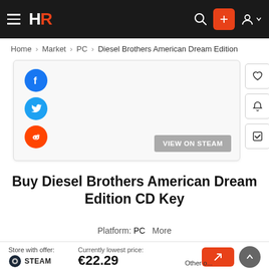HR — navigation bar with hamburger menu, logo, search, plus button, and user account
Home > Market > PC > Diesel Brothers American Dream Edition
[Figure (screenshot): Product image card with Facebook, Twitter, Reddit share buttons and a VIEW ON STEAM button]
Buy Diesel Brothers American Dream Edition CD Key
Platform: PC   More
Store with offer: STEAM   Currently lowest price: €22.29